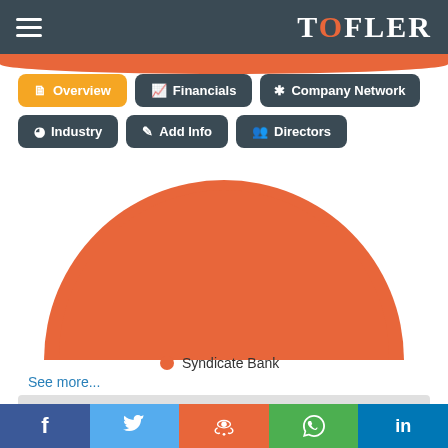TOFLER
[Figure (other): Navigation menu buttons: Overview (active/yellow), Financials, Company Network, Industry, Add Info, Directors]
[Figure (pie-chart): Orange pie chart showing Syndicate Bank as full pie slice]
See more...
PREVIOUS NAMES
Facebook Twitter Reddit WhatsApp LinkedIn social share buttons